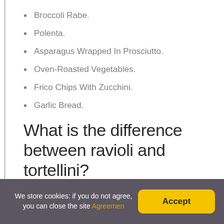Broccoli Rabe.
Polenta.
Asparagus Wrapped In Prosciutto.
Oven-Roasted Vegetables.
Frico Chips With Zucchini.
Garlic Bread.
What is the difference between ravioli and tortellini?
Visually, the difference between ravioli and tortellini
We store cookies: if you do not agree, you can close the site Agreemen